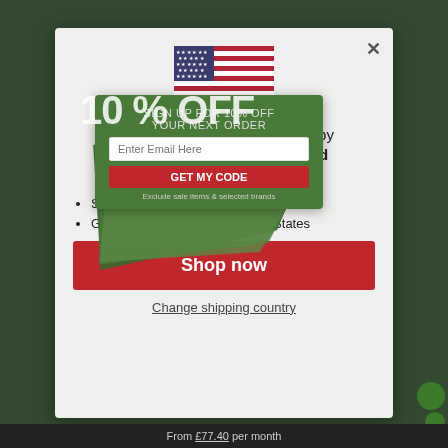[Figure (screenshot): Website modal popup for W Hamond - The Original Whitby Jet Store showing a US flag, shop localization prompt, 10% OFF discount overlay, bullet points, Shop now button, and Change shipping country link]
W Hamond - The Original Whitby Jet Store & OO ships to United States
Shop in GBP £
Get shipping options for United States
10 % OFF
SIGN UP FOR 10% OFF YOUR NEXT ORDER
Enter Email Here
GET MY CODE
Exclude sale items & selected brands
Shop now
Change shipping country
From £77.40 per month